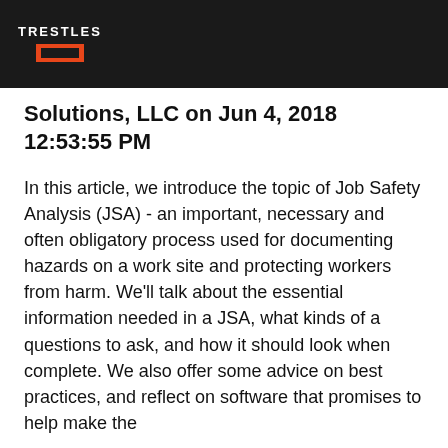TRESTLES
Solutions, LLC on Jun 4, 2018 12:53:55 PM
In this article, we introduce the topic of Job Safety Analysis (JSA) - an important, necessary and often obligatory process used for documenting hazards on a work site and protecting workers from harm. We'll talk about the essential information needed in a JSA, what kinds of a questions to ask, and how it should look when complete. We also offer some advice on best practices, and reflect on software that promises to help make the